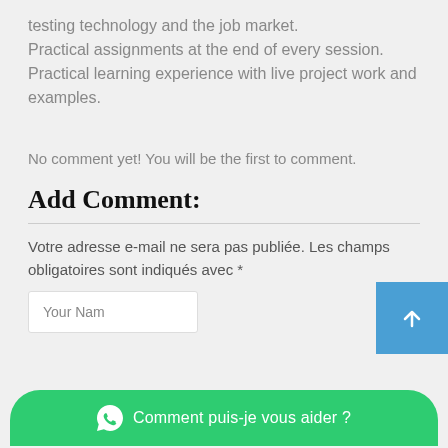testing technology and the job market. Practical assignments at the end of every session. Practical learning experience with live project work and examples.
No comment yet! You will be the first to comment.
Add Comment:
Votre adresse e-mail ne sera pas publiée. Les champs obligatoires sont indiqués avec *
Your Name
[Figure (screenshot): Blue scroll-to-top button with upward arrow]
[Figure (screenshot): Green WhatsApp chat bubble bar with text 'Comment puis-je vous aider ?']